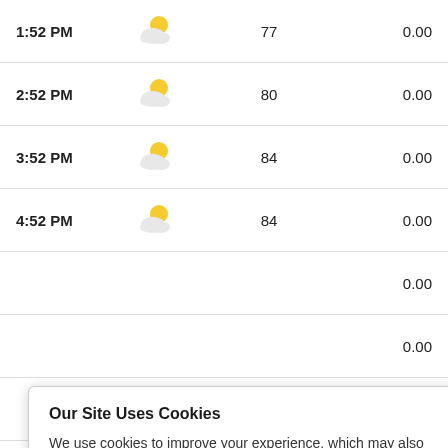| Time | Icon | Temp | Precip |
| --- | --- | --- | --- |
| 1:52 PM | [partly cloudy] | 77 | 0.00 |
| 2:52 PM | [partly cloudy] | 80 | 0.00 |
| 3:52 PM | [partly cloudy] | 84 | 0.00 |
| 4:52 PM | [partly cloudy] | 84 | 0.00 |
|  |  |  | 0.00 |
|  |  |  | 0.00 |
|  |  |  | 0.00 |
|  |  |  | 0.00 |
| 9:10 PM | [cloudy] | 78 | 0.00 |
Our Site Uses Cookies
We use cookies to improve your experience, which may also include cookies from third parties. By using our website, you agree to the use of cookies. Learn more in our privacy policy.
ACCEPT & CLOSE